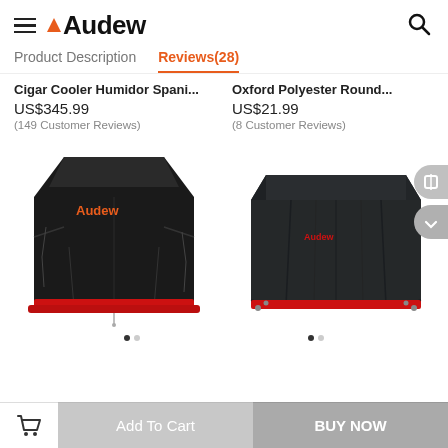Audew
Product Description   Reviews(28)
Cigar Cooler Humidor Spani...
US$345.99
(149 Customer Reviews)
Oxford Polyester Round...
US$21.99
(8 Customer Reviews)
[Figure (photo): Black BBQ grill cover with red trim and Audew logo]
[Figure (photo): Black rectangular patio furniture cover with red trim]
Add To Cart   BUY NOW